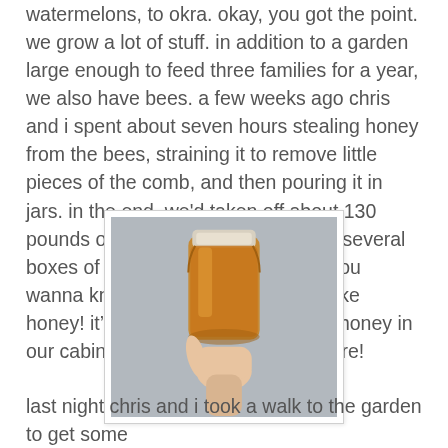watermelons, to okra. okay, you got the point. we grow a lot of stuff. in addition to a garden large enough to feed three families for a year, we also have bees. a few weeks ago chris and i spent about seven hours stealing honey from the bees, straining it to remove little pieces of the comb, and then pouring it in jars. in the end, we'd taken off about 130 pounds of honey which translates to several boxes of honey in two closets. and you wanna know a secret? i don't even like honey! it's still neat to know that the honey in our cabinet isn't from the grocery store!
[Figure (photo): A hand holding up a glass jar filled with golden-amber honey against a gray background.]
last night chris and i took a walk to the garden to get some